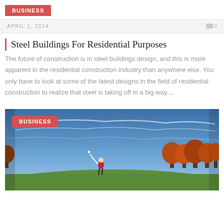BUSINESS
APRIL 1, 2014    💬0
Steel Buildings For Residential Purposes
The future of construction is in steel buildings design, and this is more apparent in the residential construction industry than anywhere else. You only have to look at some of the latest designs in the field of residential construction to realize that steel is taking off in a big way....
[Figure (photo): Golf course photo with a player in red shirt swinging a golf club, green fairway, autumn-colored trees in background, blue sky with white cloud streaks. BUSINESS badge overlay in top-left corner.]